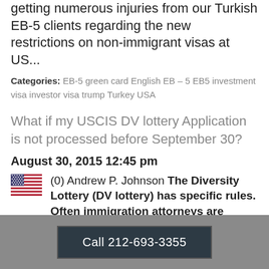getting numerous injuries from our Turkish EB-5 clients regarding the new restrictions on non-immigrant visas at US...
Categories: EB-5 green card English EB – 5 EB5 investment visa investor visa trump Turkey USA
What if my USCIS DV lottery Application is not processed before September 30?
August 30, 2015 12:45 pm
(0) Andrew P. Johnson The Diversity Lottery (DV lottery) has specific rules. Often immigration attorneys are forced to sue USCIS if it gets close to the September...
Categories: English immigration reform
Call 212-693-3355